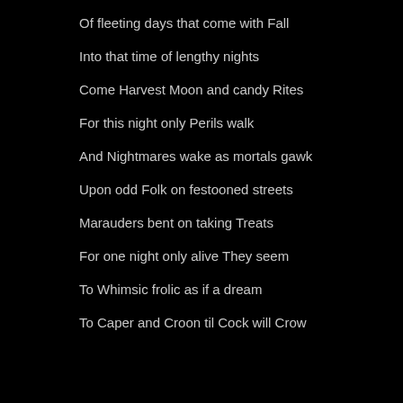Of fleeting days that come with Fall
Into that time of lengthy nights
Come Harvest Moon and candy Rites
For this night only Perils walk
And Nightmares wake as mortals gawk
Upon odd Folk on festooned streets
Marauders bent on taking Treats
For one night only alive They seem
To Whimsic frolic as if a dream
To Caper and Croon til Cock will Crow